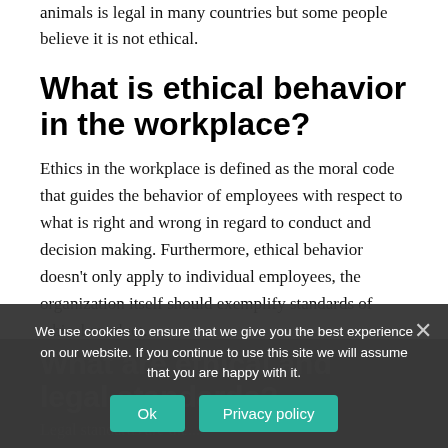animals is legal in many countries but some people believe it is not ethical.
What is ethical behavior in the workplace?
Ethics in the workplace is defined as the moral code that guides the behavior of employees with respect to what is right and wrong in regard to conduct and decision making. Furthermore, ethical behavior doesn't only apply to individual employees, the organization itself should exemplify standards of ethical conduct.
What are ethical and legal standards?
Legal standards are the...
We use cookies to ensure that we give you the best experience on our website. If you continue to use this site we will assume that you are happy with it.